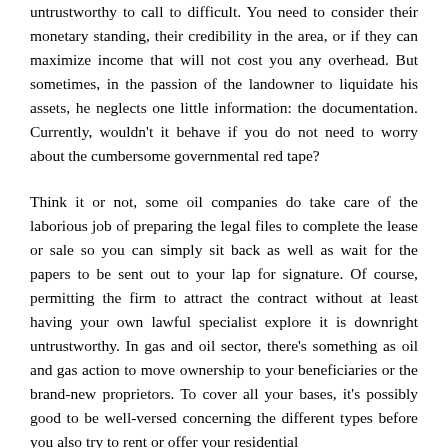untrustworthy to call to difficult. You need to consider their monetary standing, their credibility in the area, or if they can maximize income that will not cost you any overhead. But sometimes, in the passion of the landowner to liquidate his assets, he neglects one little information: the documentation. Currently, wouldn't it behave if you do not need to worry about the cumbersome governmental red tape?
Think it or not, some oil companies do take care of the laborious job of preparing the legal files to complete the lease or sale so you can simply sit back as well as wait for the papers to be sent out to your lap for signature. Of course, permitting the firm to attract the contract without at least having your own lawful specialist explore it is downright untrustworthy. In gas and oil sector, there's something as oil and gas action to move ownership to your beneficiaries or the brand-new proprietors. To cover all your bases, it's possibly good to be well-versed concerning the different types before you also try to rent or offer your residential